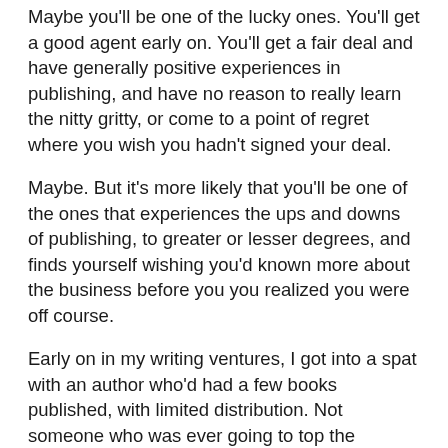Maybe you'll be one of the lucky ones. You'll get a good agent early on. You'll get a fair deal and have generally positive experiences in publishing, and have no reason to really learn the nitty gritty, or come to a point of regret where you wish you hadn't signed your deal.
Maybe. But it's more likely that you'll be one of the ones that experiences the ups and downs of publishing, to greater or lesser degrees, and finds yourself wishing you'd known more about the business before you you realized you were off course.
Early on in my writing ventures, I got into a spat with an author who'd had a few books published, with limited distribution. Not someone who was ever going to top the bestseller lists, and only had a few titles, but a known name in blogging circles and on discussion lists. The person told me I didn't know enough about the business of publishing. At the time, I suggested if they thought I had things to learn, why not tell me? The response was that they'd tried guiding new authors before, and new authors just don't listen. Now, at the time, I looked at the fact that this information was